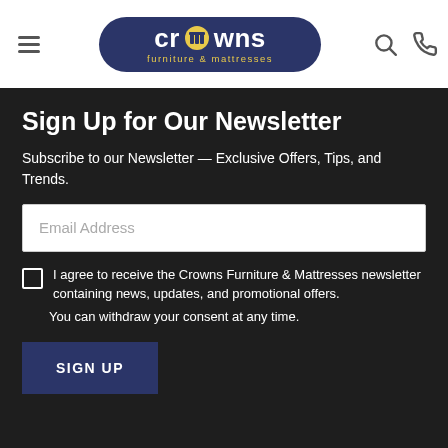Crowns furniture & mattresses — navigation header with hamburger menu, logo, search and phone icons
Sign Up for Our Newsletter
Subscribe to our Newsletter — Exclusive Offers, Tips, and Trends.
Email Address (input field)
I agree to receive the Crowns Furniture & Mattresses newsletter containing news, updates, and promotional offers.
You can withdraw your consent at any time.
SIGN UP